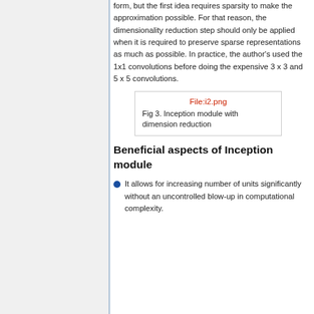form, but the first idea requires sparsity to make the approximation possible. For that reason, the dimensionality reduction step should only be applied when it is required to preserve sparse representations as much as possible. In practice, the author's used the 1x1 convolutions before doing the expensive 3 x 3 and 5 x 5 convolutions.
[Figure (other): File:i2.png placeholder image for Inception module with dimension reduction]
Fig 3. Inception module with dimension reduction
Beneficial aspects of Inception module
It allows for increasing number of units significantly without an uncontrolled blow-up in computational complexity.